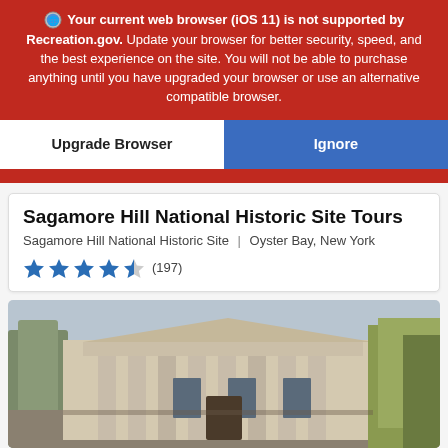🌐 Your current web browser (iOS 11) is not supported by Recreation.gov. Update your browser for better security, speed, and the best experience on the site. You will not be able to purchase anything until you have upgraded your browser or use an alternative compatible browser.
Upgrade Browser
Ignore
Sagamore Hill National Historic Site Tours
Sagamore Hill National Historic Site | Oyster Bay, New York
★★★★½ (197)
[Figure (photo): Exterior photograph of Sagamore Hill National Historic Site building with classical columns and autumn trees]
TICKETS & TOURS